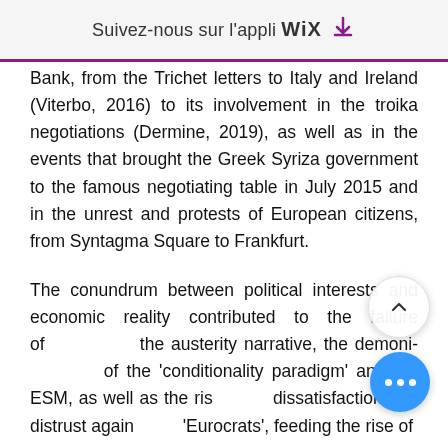Suivez-nous sur l'appli WiX ↓
Bank, from the Trichet letters to Italy and Ireland (Viterbo, 2016) to its involvement in the troika negotiations (Dermine, 2019), as well as in the events that brought the Greek Syriza government to the famous negotiating table in July 2015 and in the unrest and protests of European citizens, from Syntagma Square to Frankfurt.
The conundrum between political interests and economic reality contributed to the failure of the austerity narrative, the demonisation of the 'conditionality paradigm' and the ESM, as well as the rise of dissatisfaction and distrust against the 'Eurocrats', feeding the rise of